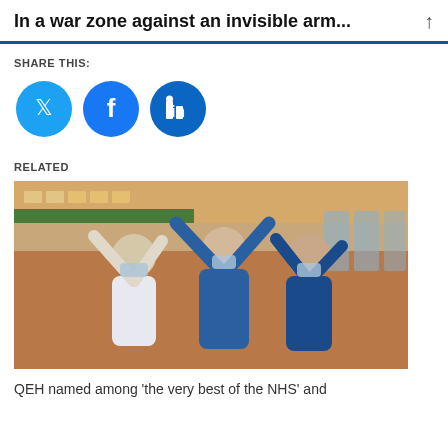In a war zone against an invisible arm...
SHARE THIS:
[Figure (illustration): Three social media share buttons: Twitter (light blue circle), Facebook (blue circle), LinkedIn (dark blue circle)]
RELATED
[Figure (photo): Three NHS nurses in scrubs and face masks with arms raised outside a hospital building]
QEH named among 'the very best of the NHS' and